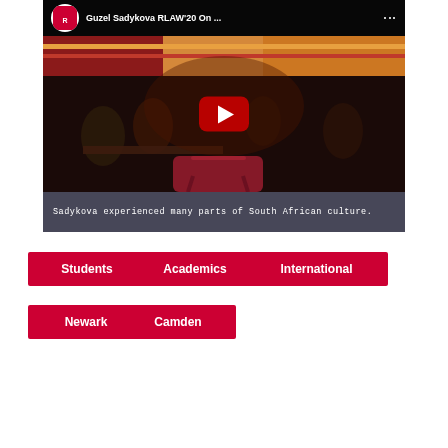[Figure (screenshot): YouTube video thumbnail showing Guzel Sadykova RLAW'20 video with Rutgers Law logo, play button, and a scene of people dining in a restaurant with South African decor. Caption bar reads: Sadykova experienced many parts of South African culture.]
Sadykova experienced many parts of South African culture.
Students
Academics
International
Newark
Camden